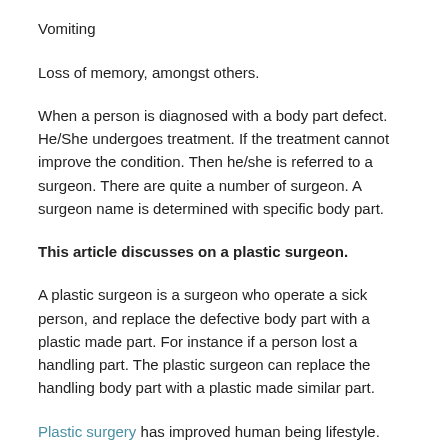Vomiting
Loss of memory, amongst others.
When a person is diagnosed with a body part defect. He/She undergoes treatment. If the treatment cannot improve the condition. Then he/she is referred to a surgeon. There are quite a number of surgeon. A surgeon name is determined with specific body part.
This article discusses on a plastic surgeon.
A plastic surgeon is a surgeon who operate a sick person, and replace the defective body part with a plastic made part. For instance if a person lost a handling part. The plastic surgeon can replace the handling body part with a plastic made similar part.
Plastic surgery has improved human being lifestyle. There are people who unfortunately lose their body part, hence can find an alternative.